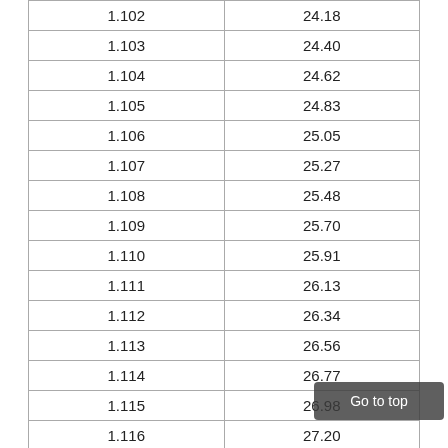| 1.102 | 24.18 |
| 1.103 | 24.40 |
| 1.104 | 24.62 |
| 1.105 | 24.83 |
| 1.106 | 25.05 |
| 1.107 | 25.27 |
| 1.108 | 25.48 |
| 1.109 | 25.70 |
| 1.110 | 25.91 |
| 1.111 | 26.13 |
| 1.112 | 26.34 |
| 1.113 | 26.56 |
| 1.114 | 26.77 |
| 1.115 | 26.98 |
| 1.116 | 27.20 |
| 1.117 | 27.41 |
| 1.118 | 27.62 |
| 1.119 | 27.83 |